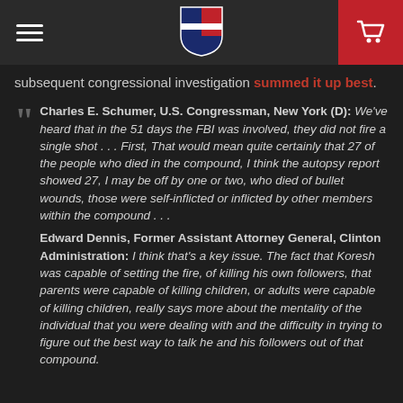[Navigation bar with hamburger menu, shield logo, and cart icon]
subsequent congressional investigation summed it up best.
Charles E. Schumer, U.S. Congressman, New York (D): We've heard that in the 51 days the FBI was involved, they did not fire a single shot . . . First, That would mean quite certainly that 27 of the people who died in the compound, I think the autopsy report showed 27, I may be off by one or two, who died of bullet wounds, those were self-inflicted or inflicted by other members within the compound . . .
Edward Dennis, Former Assistant Attorney General, Clinton Administration: I think that's a key issue. The fact that Koresh was capable of setting the fire, of killing his own followers, that parents were capable of killing children, or adults were capable of killing children, really says more about the mentality of the individual that you were dealing with and the difficulty in trying to figure out the best way to talk he and his followers out of that compound.